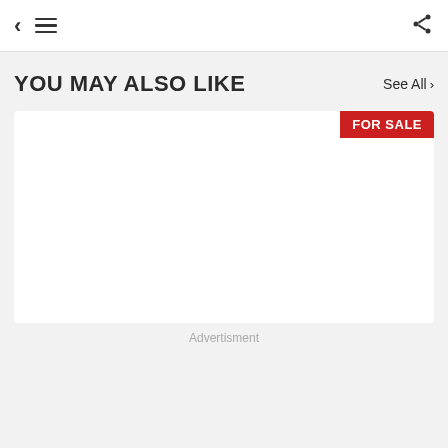< ≡  share
YOU MAY ALSO LIKE
See All >
[Figure (other): White listing card with a red FOR SALE badge in the top right corner]
Advertisment